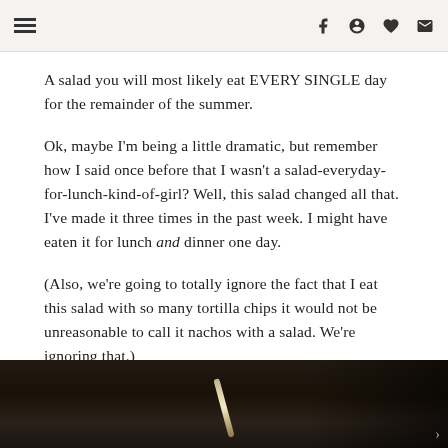[menu icon] [facebook icon] [pinterest icon] [heart icon] [email icon]
A salad you will most likely eat EVERY SINGLE day for the remainder of the summer.
Ok, maybe I'm being a little dramatic, but remember how I said once before that I wasn't a salad-everyday-for-lunch-kind-of-girl? Well, this salad changed all that. I've made it three times in the past week. I might have eaten it for lunch and dinner one day.
(Also, we're going to totally ignore the fact that I eat this salad with so many tortilla chips it would not be unreasonable to call it nachos with a salad. We're ignoring that.)
[Figure (photo): Dark atmospheric photo of what appears to be a salad dish with utensils, dark background with metallic highlight visible]